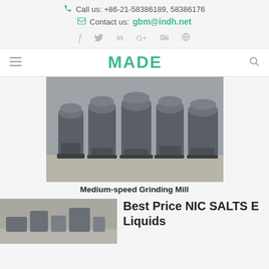Call us: +86-21-58386189, 58386176
Contact us: gbm@indh.net
[Figure (logo): Social media icons: f, Twitter bird, in, G+, Be, circle icon]
MADE
[Figure (photo): Multiple medium-speed grinding mill machines lined up in a factory warehouse, grey industrial equipment]
Medium-speed Grinding Mill
[Figure (photo): Partial view of industrial machinery in a factory setting]
Best Price NIC SALTS E Liquids